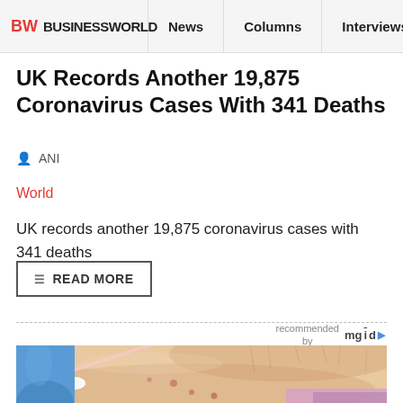BW BUSINESSWORLD | News | Columns | Interviews | BW
UK Records Another 19,875 Coronavirus Cases With 341 Deaths
ANI
World
UK records another 19,875 coronavirus cases with 341 deaths
READ MORE
recommended by mgid
[Figure (photo): Close-up photo of a person's shoulder/neck area with skin blemishes, a cotton swab being applied, and a blue-gloved hand visible at left.]